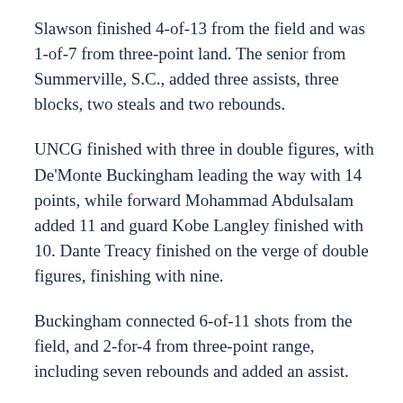Slawson finished 4-of-13 from the field and was 1-of-7 from three-point land. The senior from Summerville, S.C., added three assists, three blocks, two steals and two rebounds.
UNCG finished with three in double figures, with De'Monte Buckingham leading the way with 14 points, while forward Mohammad Abdulsalam added 11 and guard Kobe Langley finished with 10. Dante Treacy finished on the verge of double figures, finishing with nine.
Buckingham connected 6-of-11 shots from the field, and 2-for-4 from three-point range, including seven rebounds and added an assist.